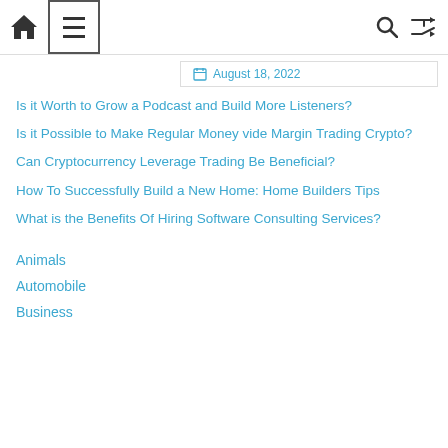Navigation bar with home, menu, search, and shuffle icons
August 18, 2022
Is it Worth to Grow a Podcast and Build More Listeners?
Is it Possible to Make Regular Money vide Margin Trading Crypto?
Can Cryptocurrency Leverage Trading Be Beneficial?
How To Successfully Build a New Home: Home Builders Tips
What is the Benefits Of Hiring Software Consulting Services?
Animals
Automobile
Business